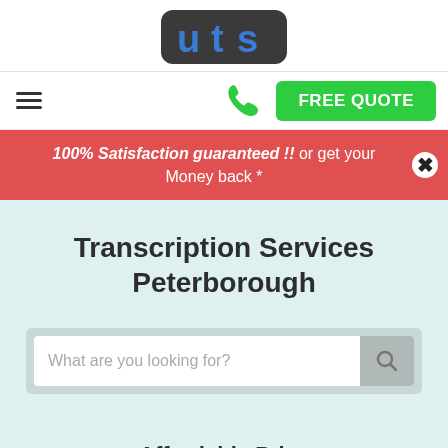[Figure (logo): UTS logo — dark rounded rectangle background with blue stylized 'UTS' letters]
[Figure (infographic): Navigation bar with hamburger menu icon on left, green phone icon in center, and green FREE QUOTE button on right]
100% Satisfaction guaranteed !! or get your Money back *
Transcription Services Peterborough
[Figure (screenshot): Search input box with placeholder text 'What are you looking for?' and a search icon button]
Affordable Price
Rush / Super Rush